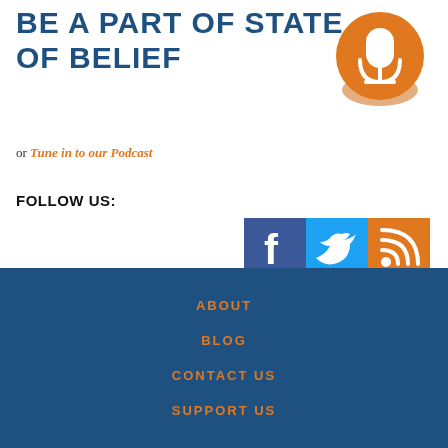BE A PART OF STATE OF BELIEF
[Figure (illustration): Orange circular microphone icon with white microphone symbol and shadow effect]
or Tune in to our Podcast
FOLLOW US:
[Figure (illustration): Three social media icons side by side: Facebook (dark blue with F), Twitter (light blue with bird), RSS feed (orange with wifi-like symbol)]
ABOUT
BLOG
CONTACT US
SUPPORT US